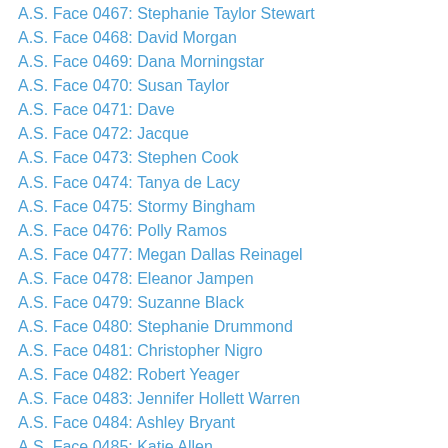A.S. Face 0467: Stephanie Taylor Stewart
A.S. Face 0468: David Morgan
A.S. Face 0469: Dana Morningstar
A.S. Face 0470: Susan Taylor
A.S. Face 0471: Dave
A.S. Face 0472: Jacque
A.S. Face 0473: Stephen Cook
A.S. Face 0474: Tanya de Lacy
A.S. Face 0475: Stormy Bingham
A.S. Face 0476: Polly Ramos
A.S. Face 0477: Megan Dallas Reinagel
A.S. Face 0478: Eleanor Jampen
A.S. Face 0479: Suzanne Black
A.S. Face 0480: Stephanie Drummond
A.S. Face 0481: Christopher Nigro
A.S. Face 0482: Robert Yeager
A.S. Face 0483: Jennifer Hollett Warren
A.S. Face 0484: Ashley Bryant
A.S. Face 0485: Katie Allen
A.S. Face 0486: JoAnn Beldue